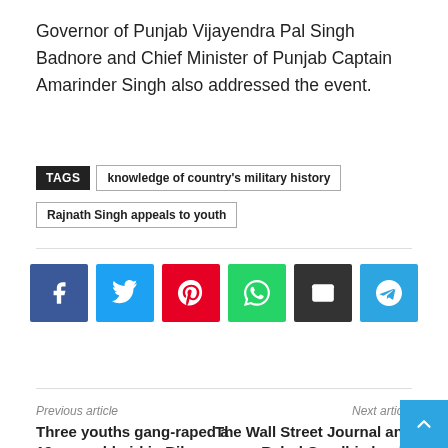Governor of Punjab Vijayendra Pal Singh Badnore and Chief Minister of Punjab Captain Amarinder Singh also addressed the event.
TAGS  knowledge of country's military history  Rajnath Singh appeals to youth
[Figure (other): Social media share buttons: Facebook, Twitter, Pinterest, WhatsApp, Email, Telegram]
Previous article
Next article
Three youths gang-raped a 19-year-old girl in Bilaspur, CG, two caught.
The Wall Street Journal and Rahul Gandhi should apologize: VHP